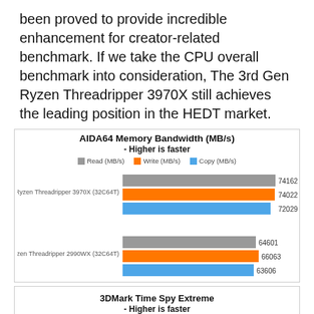been proved to provide incredible enhancement for creator-related benchmark. If we take the CPU overall benchmark into consideration, The 3rd Gen Ryzen Threadripper 3970X still achieves the leading position in the HEDT market.
[Figure (bar-chart): AIDA64 Memory Bandwidth (MB/s) - Higher is faster]
[Figure (bar-chart): 3DMark Time Spy Extreme - Higher is faster]